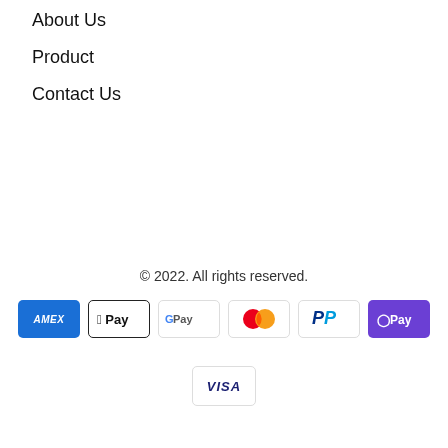About Us
Product
Contact Us
© 2022. All rights reserved.
[Figure (logo): Payment method icons: American Express (AMEX), Apple Pay, Google Pay, Mastercard, PayPal, Samsung Pay (SPay), and Visa]
[Figure (logo): Visa payment icon]